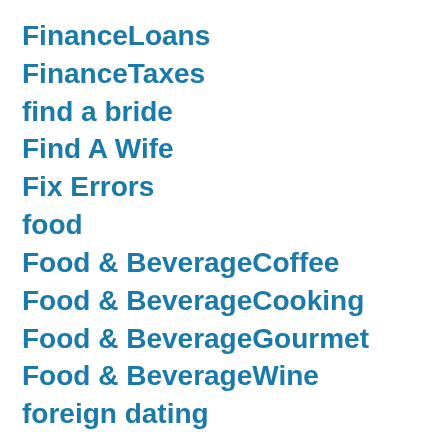FinanceLoans
FinanceTaxes
find a bride
Find A Wife
Fix Errors
food
Food & BeverageCoffee
Food & BeverageCooking
Food & BeverageGourmet
Food & BeverageWine
foreign dating